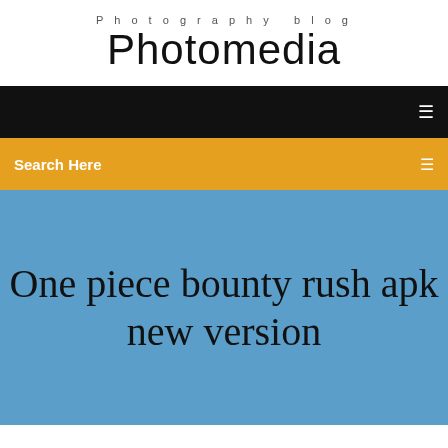Photography blog
Photomedia
[Figure (screenshot): Black navigation bar with hamburger/menu icon on right side]
Search Here
One piece bounty rush apk new version